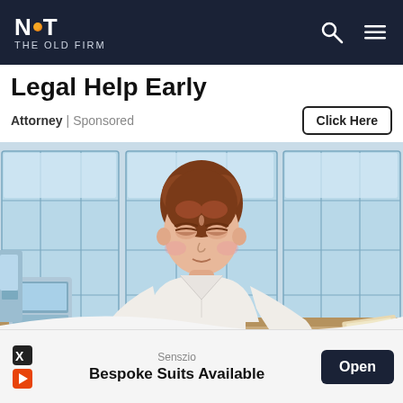NOT THE OLD FIRM
Legal Help Early
Attorney | Sponsored
Click Here
[Figure (illustration): Cartoon illustration of a woman in a white blouse with hands on hips, appearing stressed or unwell, standing in an office setting with large windows behind her. A close/X button is visible at the bottom right corner of the image.]
Senszio
Bespoke Suits Available
Open